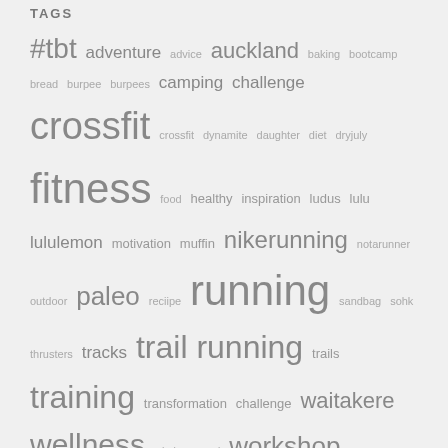TAGS
#tbt adventure advice auckland baking bootcamp bread burpee burpees camping challenge crossfit crossfit dynamite daughter diet dryjuly fitness food healthy inspiration ludus lulu lululemon motivation muffin nikerunning notarunner outdoor paleo reciipe running sandbag sohk thrusters tracks trail running trails training transformation challenge waitakere wellness wisdom wod workshop yoga
[Figure (other): Back to top arrow button]
[Figure (photo): Photo strip collage of fitness/exercise images]
Powered by WordPress - Designed with the Hueman theme
[Figure (other): Social media icons: Instagram, YouTube, Facebook, Pinterest]